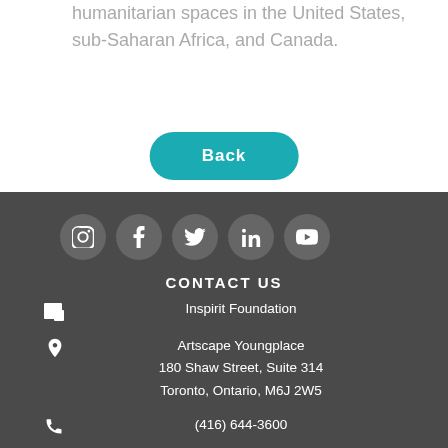humanitarian spaces in the United States, sub-Saharan Africa, and Canada.
Back
CONTACT US
Inspirit Foundation
Artscape Youngplace
180 Shaw Street, Suite 314
Toronto, Ontario, M6J 2W5
(416) 644-3600